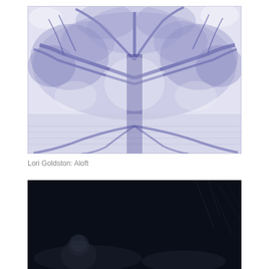[Figure (illustration): Detailed blue ink drawing of a large tree canopy viewed from below, with intricate branches and foliage filling the entire frame. The artwork uses dense hatching and stippling in blue/purple ink on white, creating a complex pattern of branches, leaves, and light.]
Lori Goldston: Aloft
[Figure (photo): Dark nighttime photograph showing a person or persons partially visible among bare branches or twigs, very dark background with some figure(s) visible at the bottom of the frame.]